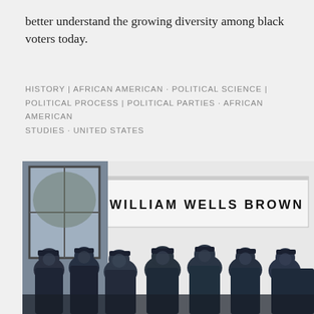better understand the growing diversity among black voters today.
HISTORY | AFRICAN AMERICAN · POLITICAL SCIENCE | POLITICAL PROCESS | POLITICAL PARTIES · AFRICAN AMERICAN STUDIES · UNITED STATES
[Figure (photo): Black and white photograph of a group of African American men in military uniforms standing in front of a building with a sign reading 'WILLIAM WELLS BROWN']